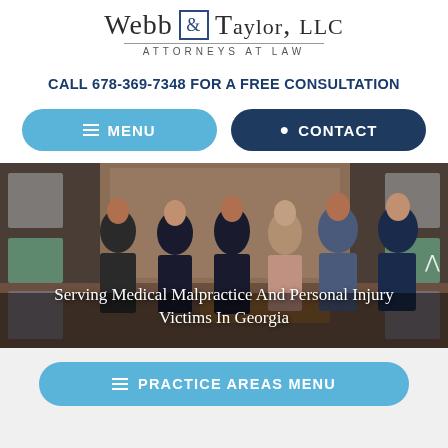[Figure (logo): Webb & Taylor, LLC Attorneys at Law logo]
CALL 678-369-7348 FOR A FREE CONSULTATION
MENU
CONTACT
[Figure (photo): Group photo of five attorneys standing in a law office with framed pictures on the walls. Text overlay reads: Serving Medical Malpractice And Personal Injury Victims In Georgia]
Serving Medical Malpractice And Personal Injury Victims In Georgia
PRACTICE AREAS MENU